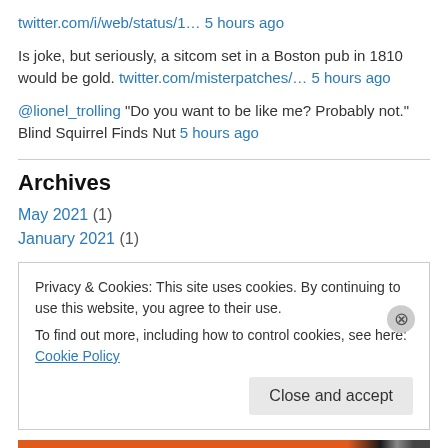twitter.com/i/web/status/1… 5 hours ago
Is joke, but seriously, a sitcom set in a Boston pub in 1810 would be gold. twitter.com/misterpatches/… 5 hours ago
@lionel_trolling "Do you want to be like me? Probably not." Blind Squirrel Finds Nut 5 hours ago
Archives
May 2021 (1)
January 2021 (1)
Privacy & Cookies: This site uses cookies. By continuing to use this website, you agree to their use. To find out more, including how to control cookies, see here: Cookie Policy